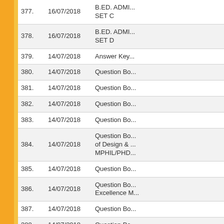| No. | Date | Link |
| --- | --- | --- |
| 377. | 16/07/2018 | B.ED. ADMI... SET C |
| 378. | 16/07/2018 | B.ED. ADMI... SET D |
| 379. | 14/07/2018 | Answer Key... |
| 380. | 14/07/2018 | Question Bo... |
| 381. | 14/07/2018 | Question Bo... |
| 382. | 14/07/2018 | Question Bo... |
| 383. | 14/07/2018 | Question Bo... |
| 384. | 14/07/2018 | Question Bo... of Design & ... MPHIL/PHD... |
| 385. | 14/07/2018 | Question Bo... |
| 386. | 14/07/2018 | Question Bo... Excellence M... |
| 387. | 14/07/2018 | Question Bo... |
| 388. | 14/07/2018 | Question Bo... |
| 389. | 09/07/2018 | Final Answer... 2018 Set A,B... |